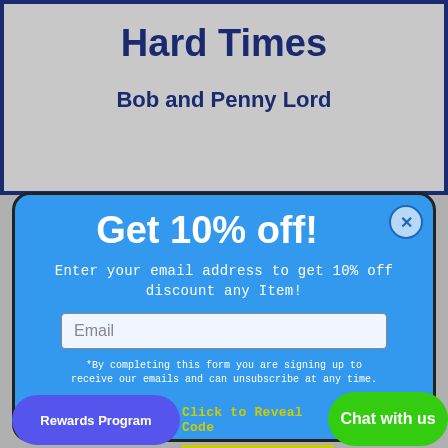[Figure (screenshot): Background book cover showing title 'Hard Times' and author 'Bob and Penny Lord' on a light gray background with dark blue border]
Hard Times
Bob and Penny Lord
[Figure (screenshot): Email signup popup modal with blue background offering 10% off discount. Contains headline 'Get 10% off!', subtext about entering email, an email input field, disclaimer text, and a close button.]
Get 10% off!
Enter your email address to get 10% off discount any Item!
Email
*By completing this form you are signing up to receive our emails and can unsubscribe at any time.
Rewards Program
Click to Reveal Code
Chat with us